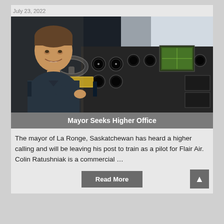July 23, 2022
[Figure (photo): A smiling man in a dark polo shirt seated in an aircraft cockpit, surrounded by flight instruments and controls, holding the yoke/control column.]
Mayor Seeks Higher Office
The mayor of La Ronge, Saskatchewan has heard a higher calling and will be leaving his post to train as a pilot for Flair Air. Colin Ratushniak is a commercial …
Read More